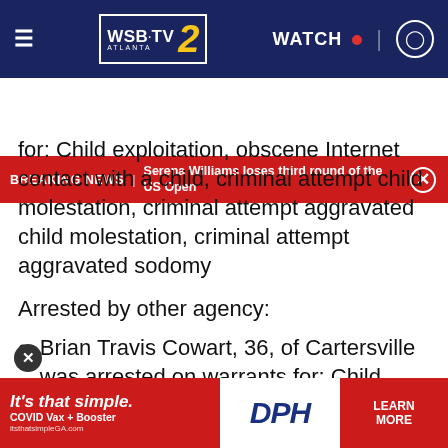WSB-TV 2 Atlanta | WATCH
BREAKING NEWS | Serena Williams loses third round of the US Open
for: Child exploitation, obscene Internet contact with a child, criminal attempt child molestation, criminal attempt aggravated child molestation, criminal attempt aggravated sodomy
Arrested by other agency:
Brian Travis Cowart, 36, of Cartersville was arrested on warrants for: Child exploitation, computer electronic pornography Child Exploitation Act
The ICAC Task Force Program was created by the Depar... law enfor...